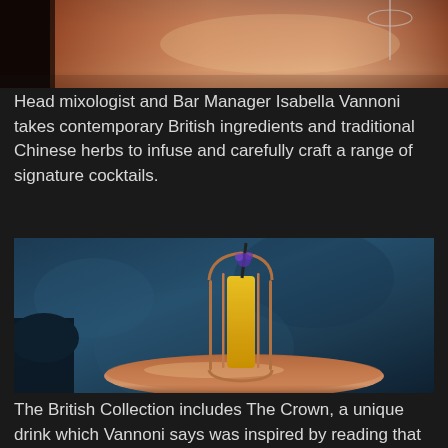[Figure (photo): Top portion of a copper bar tray with a cocktail glass visible at the top, cropped at the top of the page]
Head mixologist and Bar Manager Isabella Vannoni takes contemporary British ingredients and traditional Chinese herbs to infuse and carefully craft a range of signature cocktails.
[Figure (photo): A yellow cocktail in a tall glass enclosed within a copper cage-like holder, sitting on a copper tray, with a dark blue textured background and a black straw with a purple flower garnish]
The British Collection includes The Crown, a unique drink which Vannoni says was inspired by reading that Her Majesty